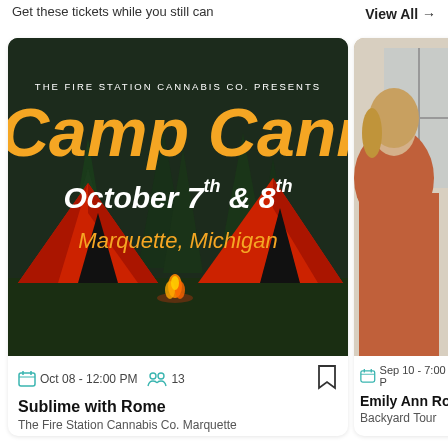Get these tickets while you still can
View All →
[Figure (photo): Camp Cannabis event poster: dark background with orange script 'Camp Cannabis', text 'THE FIRE STATION CANNABIS CO. PRESENTS', 'October 7th & 8th', 'Marquette, Michigan', illustrated red tents and campfire]
Oct 08 - 12:00 PM   13
Sublime with Rome
The Fire Station Cannabis Co. Marquette
[Figure (photo): Photo of a blonde woman in an orange/rust jacket, partially cropped, indoors near a window]
Sep 10 - 7:00 P
Emily Ann Ro
Backyard Tour